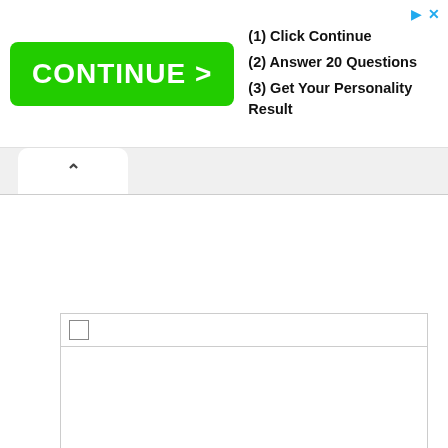[Figure (screenshot): Advertisement banner with green CONTINUE > button and steps: (1) Click Continue, (2) Answer 20 Questions, (3) Get Your Personality Result. Small play and close icons in top-right corner.]
[Figure (screenshot): Browser UI showing a tab with an up-arrow chevron, white content area below, and a content box at bottom with a bordered inner box containing a checkbox row.]